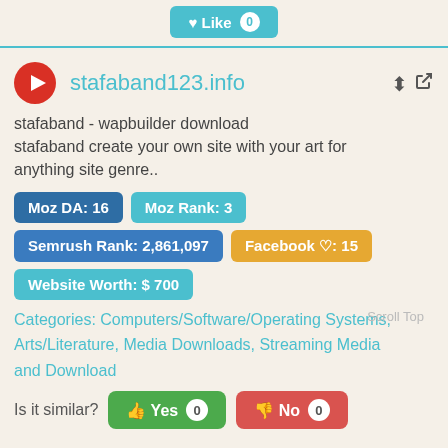Like 0
stafaband123.info
stafaband - wapbuilder download stafaband create your own site with your art for anything site genre..
Moz DA: 16  Moz Rank: 3  Semrush Rank: 2,861,097  Facebook ♡: 15  Website Worth: $ 700
Categories: Computers/Software/Operating Systems, Arts/Literature, Media Downloads, Streaming Media and Download
Is it similar? Yes 0  No 0